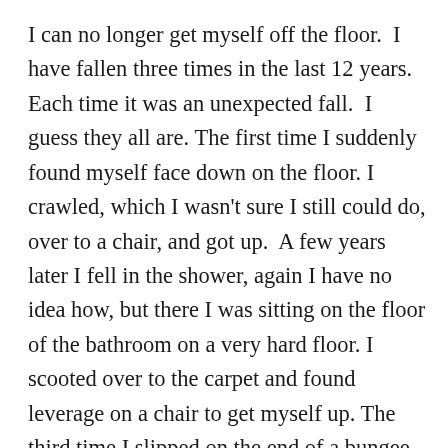I can no longer get myself off the floor.  I have fallen three times in the last 12 years.  Each time it was an unexpected fall.  I guess they all are. The first time I suddenly found myself face down on the floor. I crawled, which I wasn't sure I still could do, over to a chair, and got up.  A few years later I fell in the shower, again I have no idea how, but there I was sitting on the floor of the bathroom on a very hard floor. I scooted over to the carpet and found leverage on a chair to get myself up. The third time I slipped on the end of a bungee cord on my kitchen floor I had out to help